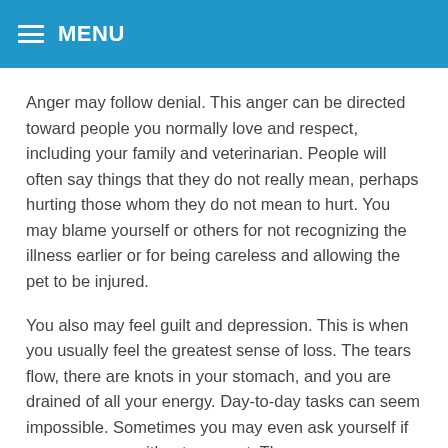MENU
Anger may follow denial. This anger can be directed toward people you normally love and respect, including your family and veterinarian. People will often say things that they do not really mean, perhaps hurting those whom they do not mean to hurt. You may blame yourself or others for not recognizing the illness earlier or for being careless and allowing the pet to be injured.
You also may feel guilt and depression. This is when you usually feel the greatest sense of loss. The tears flow, there are knots in your stomach, and you are drained of all your energy. Day-to-day tasks can seem impossible. Sometimes you may even ask yourself if you can go on without your pet. The